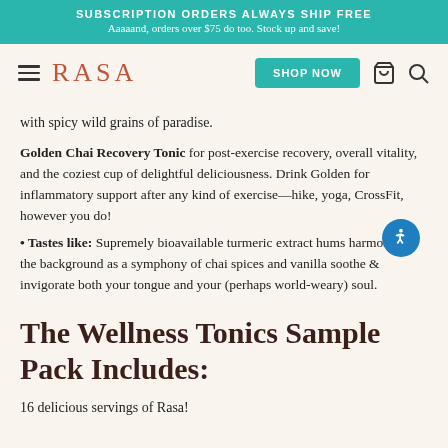SUBSCRIPTION ORDERS ALWAYS SHIP FREE
Aaaaand, orders over $75 do too. Stock up and save!
[Figure (logo): RASA logo with hamburger menu, SHOP NOW button, cart icon, and search icon on cream background]
with spicy wild grains of paradise.
Golden Chai Recovery Tonic for post-exercise recovery, overall vitality, and the coziest cup of delightful deliciousness. Drink Golden for inflammatory support after any kind of exercise—hike, yoga, CrossFit, however you do!
• Tastes like: Supremely bioavailable turmeric extract hums harmony in the background as a symphony of chai spices and vanilla soothe & invigorate both your tongue and your (perhaps world-weary) soul.
The Wellness Tonics Sample Pack Includes:
16 delicious servings of Rasa!